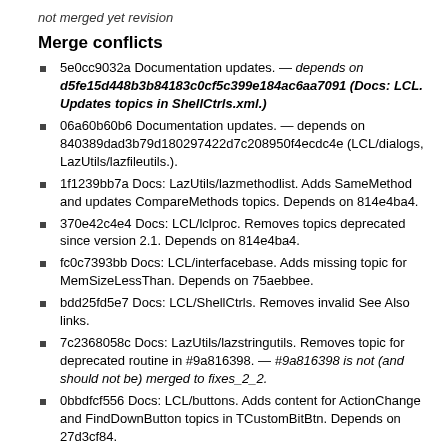not merged yet revision
Merge conflicts
5e0cc9032a Documentation updates. — depends on d5fe15d448b3b84183c0cf5c399e184ac6aa7091 (Docs: LCL. Updates topics in ShellCtrls.xml.)
06a60b60b6 Documentation updates. — depends on 840389dad3b79d180297422d7c208950f4ecdc4e (LCL/dialogs, LazUtils/lazfileutils.).
1f1239bb7a Docs: LazUtils/lazmethodlist. Adds SameMethod and updates CompareMethods topics. Depends on 814e4ba4.
370e42c4e4 Docs: LCL/lclproc. Removes topics deprecated since version 2.1. Depends on 814e4ba4.
fc0c7393bb Docs: LCL/interfacebase. Adds missing topic for MemSizeLessThan. Depends on 75aebbee.
bdd25fd5e7 Docs: LCL/ShellCtrls. Removes invalid See Also links.
7c2368058c Docs: LazUtils/lazstringutils. Removes topic for deprecated routine in #9a816398. — #9a816398 is not (and should not be) merged to fixes_2_2.
0bbdfcf556 Docs: LCL/buttons. Adds content for ActionChange and FindDownButton topics in TCustomBitBtn. Depends on 27d3cf84.
70ee915771 Docs: LCL/shellctrls. Adds and removes topics.Depends on 06701d05a7.